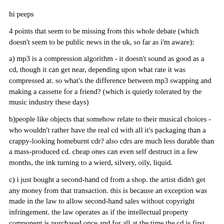hi peeps
4 points that seem to be missing from this whole debate (which doesn't seem to be public news in the uk, so far as i'm aware):
a) mp3 is a compression algorithm - it doesn't sound as good as a cd, though it can get near, depending upon what rate it was compressed at. so what's the difference between mp3 swapping and making a cassette for a friend? (which is quietly tolerated by the music industry these days)
b)people like objects that somehow relate to their musical choices - who wouldn't rather have the real cd with all it's packaging than a crappy-looking homeburnt cdr? also cdrs are much less durable than a mass-produced cd. cheap ones can even self destruct in a few months, the ink turning to a wierd, silvery, oily, liquid.
c) i just bought a second-hand cd from a shop. the artist didn't get any money from that transaction. this is because an exception was made in the law to allow second-hand sales without copyright infringement. the law operates as if the intellectual property component is purchased once and for all at the time the cd is first bought, within traditional business practices. it can only be a matter of time before similar exceptions are made for new media businesses. everyone operates as if they already do, even now!